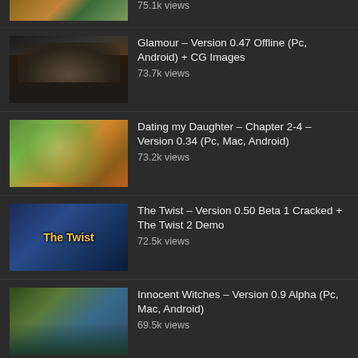75.1k views
Glamour – Version 0.47 Offline (Pc, Android) + CG Images
73.7k views
Dating my Daughter – Chapter 2-4 – Version 0.34 (Pc, Mac, Android)
73.2k views
The Twist – Version 0.50 Beta 1 Cracked + The Twist 2 Demo
72.5k views
Innocent Witches – Version 0.9 Alpha (Pc, Mac, Android)
69.5k views
Treasure of Nadia – Version 1.0112 (Pc) + Incest patch